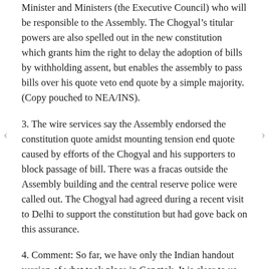Minister and Ministers (the Executive Council) who will be responsible to the Assembly. The Chogyal’s titular powers are also spelled out in the new constitution which grants him the right to delay the adoption of bills by withholding assent, but enables the assembly to pass bills over his quote veto end quote by a simple majority. (Copy pouched to NEA/INS).
3. The wire services say the Assembly endorsed the constitution quote amidst mounting tension end quote caused by efforts of the Chogyal and his supporters to block passage of bill. There was a fracas outside the Assembly building and the central reserve police were called out. The Chogyal had agreed during a recent visit to Delhi to support the constitution but had gove back on this assurance.
4. Comment: So far, we have only the Indian handout version of what took place in Gangtok. It is clear to us, however, that the Chogyal did not want this constitution and that he delayed and resisted its adoption as long as possible. The new document basically reaffirms and elaborates the powers and functions of the Assembly and Council and the Indian chief executive provided for in the May 8, 1973, agreement between the GOI, the Chogyal,